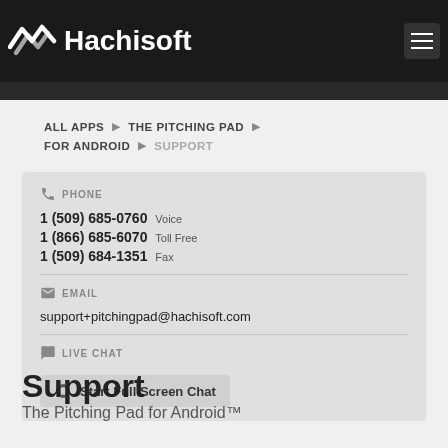Hachisoft
ALL APPS ▶  THE PITCHING PAD ▶  FOR ANDROID ▶  SUPPORT
PHONE
1 (509) 685-0760 Voice
1 (866) 685-6070 Toll Free
1 (509) 684-1351 Fax
EMAIL
support+pitchingpad@hachisoft.com
LIVE CHAT
Start Full Screen Chat
Support
The Pitching Pad for Android™